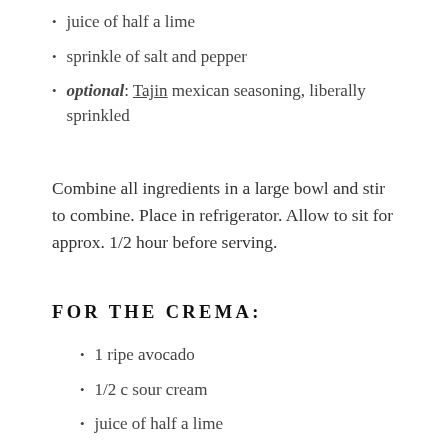juice of half a lime
sprinkle of salt and pepper
optional: Tajin mexican seasoning, liberally sprinkled
Combine all ingredients in a large bowl and stir to combine. Place in refrigerator. Allow to sit for approx. 1/2 hour before serving.
FOR THE CREMA:
1 ripe avocado
1/2 c sour cream
juice of half a lime
approx. 1/4 c of chopped fresh cilantro
pinch of cumin
salt and pepper